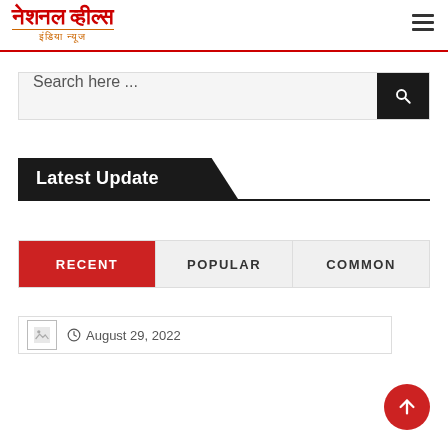नेशनल व्हील्स — इंडिया न्यूज
[Figure (screenshot): Search bar with text 'Search here ...' and a black search button with magnifying glass icon]
Latest Update
RECENT | POPULAR | COMMON
August 29, 2022
[Figure (other): Scroll to top red circular button with upward arrow]